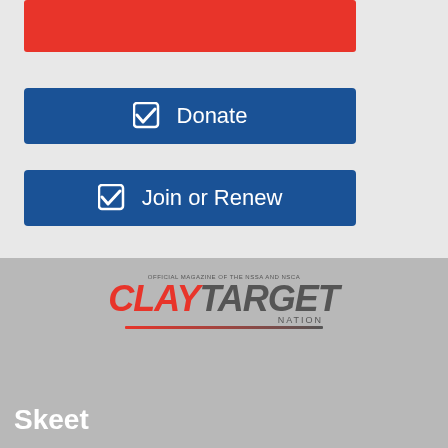[Figure (other): Red rectangular bar at top]
[Figure (other): Blue button with checkbox icon and text 'Donate']
[Figure (other): Blue button with checkbox icon and text 'Join or Renew']
[Figure (logo): Clay Target Nation logo - Official Magazine of the NSSA and NSCA]
Skeet